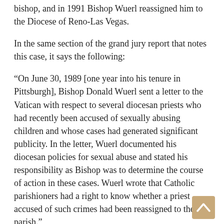bishop, and in 1991 Bishop Wuerl reassigned him to the Diocese of Reno-Las Vegas.
In the same section of the grand jury report that notes this case, it says the following:
“On June 30, 1989 [one year into his tenure in Pittsburgh], Bishop Donald Wuerl sent a letter to the Vatican with respect to several diocesan priests who had recently been accused of sexually abusing children and whose cases had generated significant publicity. In the letter, Wuerl documented his diocesan policies for sexual abuse and stated his responsibility as Bishop was to determine the course of action in these cases. Wuerl wrote that Catholic parishioners had a right to know whether a priest accused of such crimes had been reassigned to their parish.”